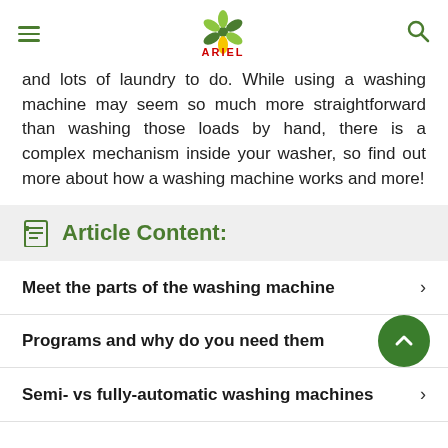ARIEL
and lots of laundry to do. While using a washing machine may seem so much more straightforward than washing those loads by hand, there is a complex mechanism inside your washer, so find out more about how a washing machine works and more!
Article Content:
Meet the parts of the washing machine
Programs and why do you need them
Semi- vs fully-automatic washing machines